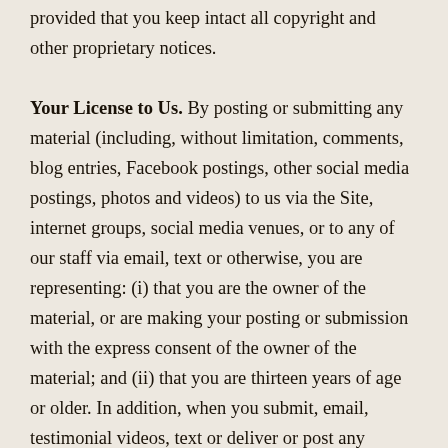provided that you keep intact all copyright and other proprietary notices.

Your License to Us. By posting or submitting any material (including, without limitation, comments, blog entries, Facebook postings, other social media postings, photos and videos) to us via the Site, internet groups, social media venues, or to any of our staff via email, text or otherwise, you are representing: (i) that you are the owner of the material, or are making your posting or submission with the express consent of the owner of the material; and (ii) that you are thirteen years of age or older. In addition, when you submit, email, testimonial videos, text or deliver or post any material, you are granting us, and anyone authorized by us, a royalty-free, perpetual